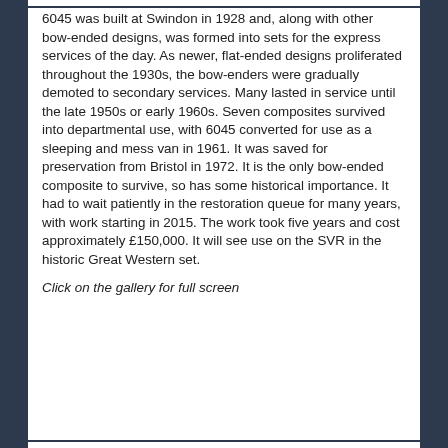6045 was built at Swindon in 1928 and, along with other bow-ended designs, was formed into sets for the express services of the day. As newer, flat-ended designs proliferated throughout the 1930s, the bow-enders were gradually demoted to secondary services. Many lasted in service until the late 1950s or early 1960s. Seven composites survived into departmental use, with 6045 converted for use as a sleeping and mess van in 1961. It was saved for preservation from Bristol in 1972. It is the only bow-ended composite to survive, so has some historical importance. It had to wait patiently in the restoration queue for many years, with work starting in 2015. The work took five years and cost approximately £150,000. It will see use on the SVR in the historic Great Western set.
Click on the gallery for full screen